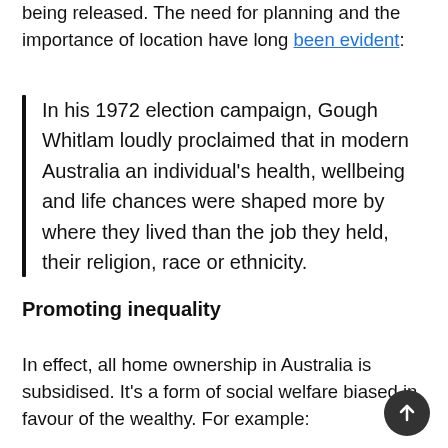being released. The need for planning and the importance of location have long been evident:
In his 1972 election campaign, Gough Whitlam loudly proclaimed that in modern Australia an individual's health, wellbeing and life chances were shaped more by where they lived than the job they held, their religion, race or ethnicity.
Promoting inequality
In effect, all home ownership in Australia is subsidised. It's a form of social welfare biased in favour of the wealthy. For example: